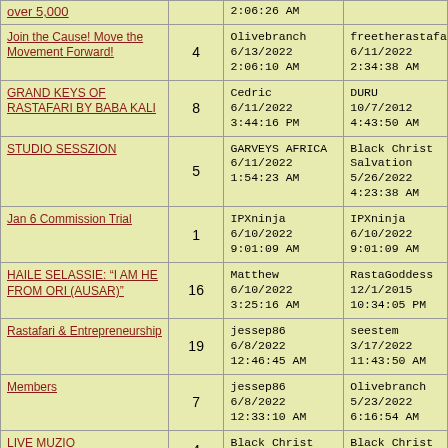| Title | Count | Latest Post | Oldest Post |
| --- | --- | --- | --- |
| over 5,000 |  | 2:06:26 AM |  |
| Join the Cause! Move the Movement Forward! | 4 | Olivebranch
6/13/2022
2:06:10 AM | freetherastafari
6/11/2022
2:34:38 AM |
| GRAND KEYS OF RASTAFARI BY BABA KALI | 8 | Cedric
6/11/2022
3:44:16 PM | DURU
10/7/2012
4:43:50 AM |
| STUDIO SESSZION | 5 | GARVEYS AFRICA
6/11/2022
1:54:23 AM | Black Christ Salvation
5/26/2022
4:23:38 AM |
| Jan 6 Commission Trial | 1 | IPXninja
6/10/2022
9:01:09 AM | IPXninja
6/10/2022
9:01:09 AM |
| HAILE SELASSIE: "I AM HE FROM ORI (AUSAR)" | 16 | Matthew
6/10/2022
3:25:16 AM | RastaGoddess
12/1/2015
10:34:05 PM |
| Rastafari & Entrepreneurship | 19 | jessep86
6/8/2022
12:46:45 AM | seestem
3/17/2022
11:43:50 AM |
| Members | 7 | jessep86
6/8/2022
12:33:10 AM | Olivebranch
5/23/2022
6:16:54 AM |
| LIVE MUZIO | 4 | Black Christ Salvation | Black Christ Salvation |